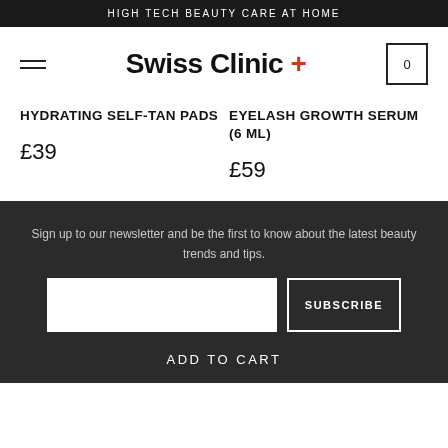HIGH TECH BEAUTY CARE AT HOME
[Figure (logo): Swiss Clinic+ logo with hamburger menu and shopping cart showing 0 items]
HYDRATING SELF-TAN PADS
£39
EYELASH GROWTH SERUM (6 ML)
£59
Sign up to our newsletter and be the first to know about the latest beauty trends and tips.
SUBSCRIBE
ADD TO CART